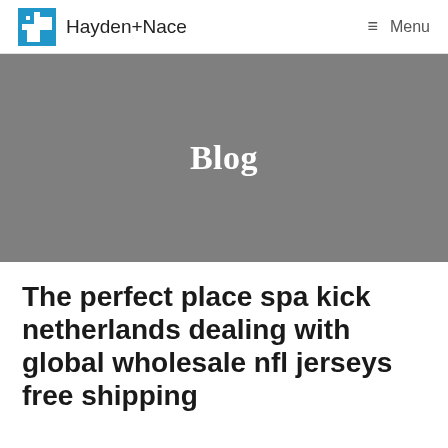Hayden+Nace  Menu
Blog
The perfect place spa kick netherlands dealing with global wholesale nfl jerseys free shipping